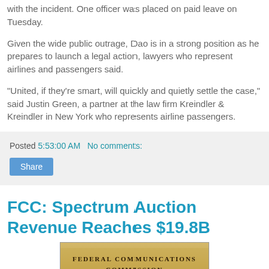with the incident. One officer was placed on paid leave on Tuesday.
Given the wide public outrage, Dao is in a strong position as he prepares to launch a legal action, lawyers who represent airlines and passengers said.
"United, if they're smart, will quickly and quietly settle the case," said Justin Green, a partner at the law firm Kreindler & Kreindler in New York who represents airline passengers.
Posted 5:53:00 AM   No comments:
Share
FCC: Spectrum Auction Revenue Reaches $19.8B
[Figure (photo): Sign reading 'Federal Communications Commission' on a building exterior]